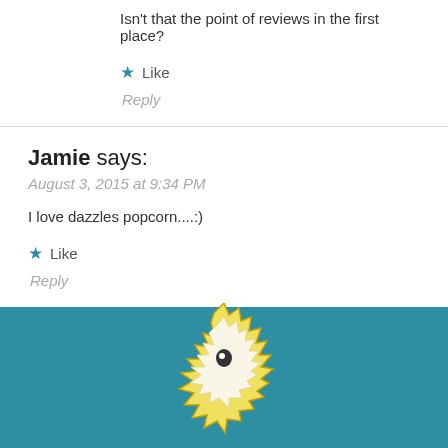Isn't that the point of reviews in the first place?
★ Like
Reply
Jamie says:
August 3, 2015 at 9:34 PM
I love dazzles popcorn....:)
★ Like
Reply
[Figure (illustration): Partial illustration of a popcorn mascot or logo figure on a teal background, showing yellow and white jagged shapes at the bottom of the page]